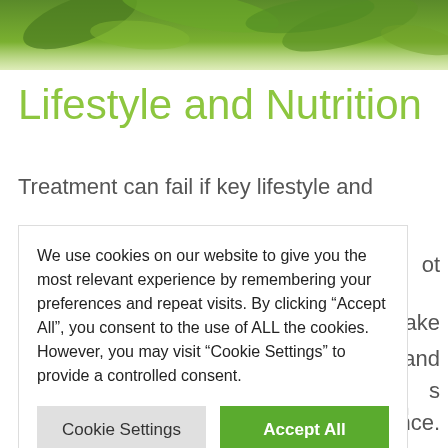[Figure (photo): Green plant leaves hero image at top of page]
Lifestyle and Nutrition
Treatment can fail if key lifestyle and nutritional factors are not addressed. Our practitioners will make recommendations on diet and lifestyle changes that will support your treatments and optimise your performance.
We use cookies on our website to give you the most relevant experience by remembering your preferences and repeat visits. By clicking “Accept All”, you consent to the use of ALL the cookies. However, you may visit “Cookie Settings” to provide a controlled consent.
what not to do so that each training schedule can optimise